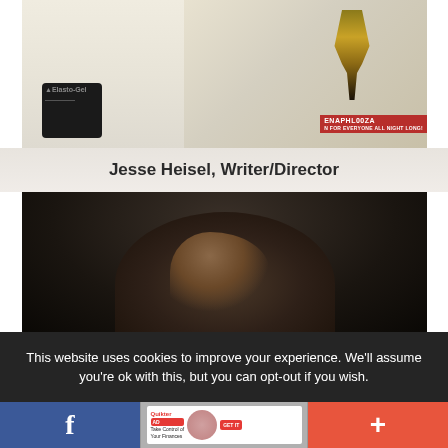[Figure (photo): Person in white shirt holding a gold trophy, wearing a black wrist brace. Background shows a red banner with 'ENAPALOOZA' text.]
Jesse Heisel, Writer/Director
[Figure (photo): Close-up photo of the top of a person's head with dark brown hair, against a dark background.]
This website uses cookies to improve your experience. We'll assume you're ok with this, but you can opt-out if you wish.
[Figure (infographic): Bottom navigation bar with Facebook share button (blue), an advertisement in the middle, and a plus/add button (red-orange).]